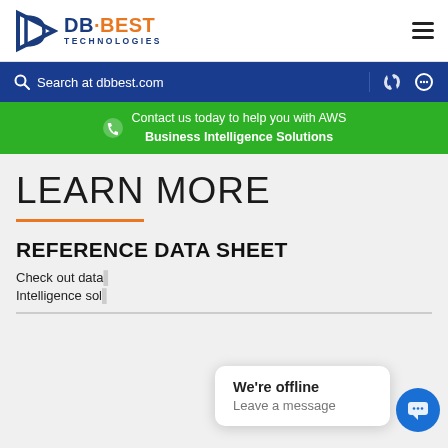DB Best Technologies logo and navigation header
Search at dbbest.com
Contact us today to help you with AWS Business Intelligence Solutions
LEARN MORE
REFERENCE DATA SHEET
Check out data... Intelligence sol...
We're offline
Leave a message